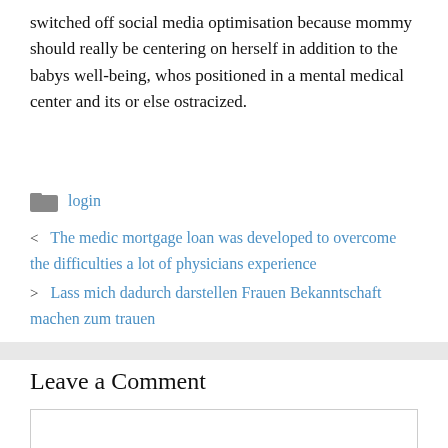switched off social media optimisation because mommy should really be centering on herself in addition to the babys well-being, whos positioned in a mental medical center and its or else ostracized.
login
< The medic mortgage loan was developed to overcome the difficulties a lot of physicians experience
> Lass mich dadurch darstellen Frauen Bekanntschaft machen zum trauen
Leave a Comment